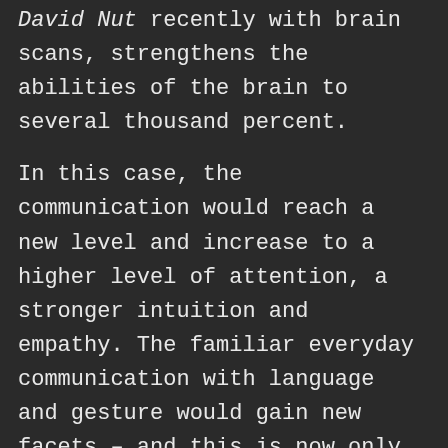David Nut recently with brain scans, strengthens the abilities of the brain to several thousand percent.
In this case, the communication would reach a new level and increase to a higher level of attention, a stronger intuition and empathy. The familiar everyday communication with language and gesture would gain new facets – and this is now only about communication.
LSD Microdosing – Dosage